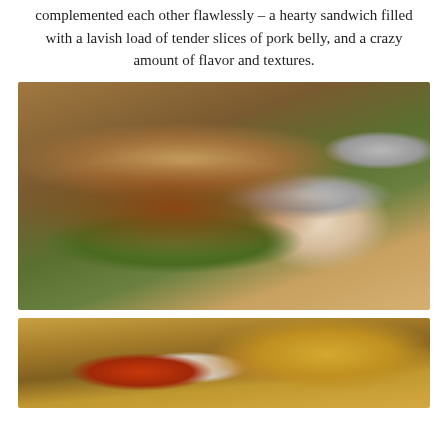complemented each other flawlessly – a hearty sandwich filled with a lavish load of tender slices of pork belly, and a crazy amount of flavor and textures.
[Figure (photo): Close-up photograph of a large pork belly sandwich on a bun with lettuce, served on a wooden board with a white rectangular dish of dipping sauce beside it, and a metal bucket in the background.]
[Figure (photo): Partial photograph of a food dish with french fries and what appears to be a small container of sauce or condiment, served on a wooden board.]